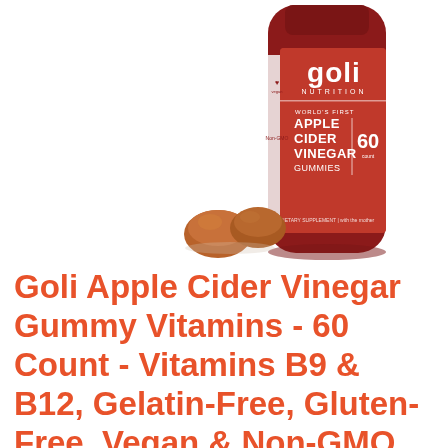[Figure (photo): Goli Nutrition Apple Cider Vinegar Gummies bottle (red) with 60 count label, with two brown gummy pieces in front of the bottle on a white background.]
Goli Apple Cider Vinegar Gummy Vitamins - 60 Count - Vitamins B9 & B12, Gelatin-Free, Gluten-Free, Vegan & Non-GMO